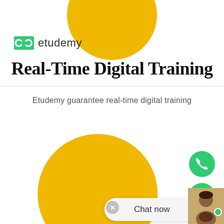[Figure (logo): Etudemy logo with green chain-link icon and company name 'etudemy']
Real-Time Digital Training
Etudemy guarantee real-time digital training
[Figure (illustration): Large yellow circle decorative element in center-lower area of page, with green phone button, green WhatsApp button, and chat now widget with avatar in bottom right]